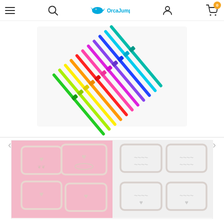OrcaJump - e-commerce navigation header
[Figure (photo): Colorful rainbow-colored silicone cable ties or straw markers arranged in a fan/diagonal pattern on a white surface. Colors include green, yellow, orange, red, pink, purple, and blue.]
[Figure (photo): White laser-cut or molded paper clips / bookmarks shaped like gift cards with bow designs, displayed on pink and white backgrounds.]